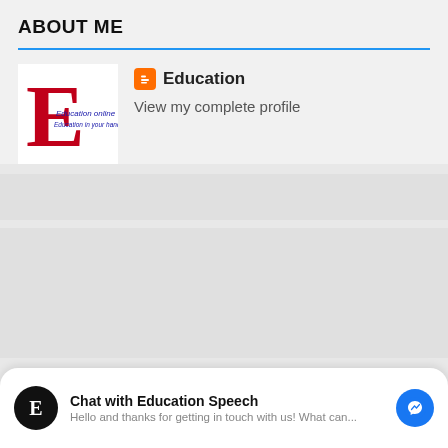ABOUT ME
[Figure (logo): Education Online blog logo with large red E letter and text 'Education online / Education in your hand']
Education
View my complete profile
Chat with Education Speech
Hello and thanks for getting in touch with us! What can...